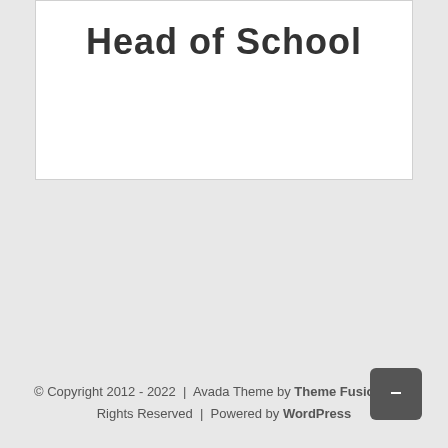Head of School
© Copyright 2012 - 2022  |  Avada Theme by Theme Fusion  |  All Rights Reserved  |  Powered by WordPress